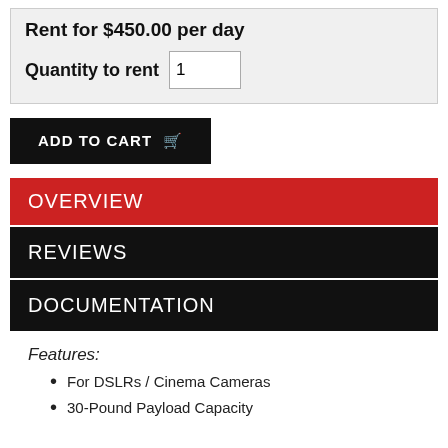Rent for $450.00 per day
Quantity to rent 1
ADD TO CART
OVERVIEW
REVIEWS
DOCUMENTATION
Features:
For DSLRs / Cinema Cameras
30-Pound Payload Capacity